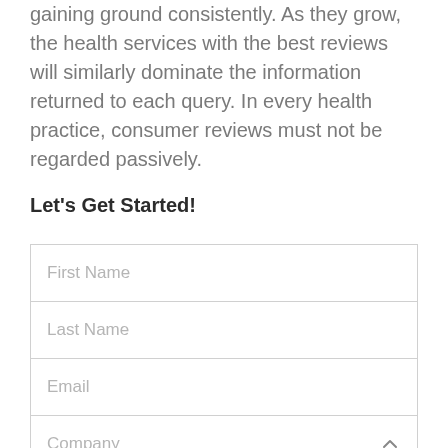gaining ground consistently. As they grow, the health services with the best reviews will similarly dominate the information returned to each query. In every health practice, consumer reviews must not be regarded passively.
Let's Get Started!
| Field |
| --- |
| First Name |
| Last Name |
| Email |
| Company |